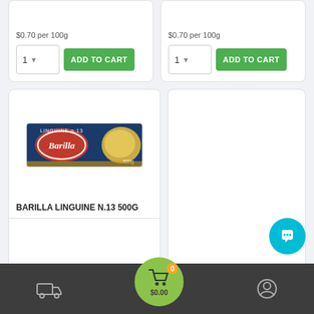$0.70 per 100g
$0.70 per 100g
1  ADD TO CART
1  ADD TO CART
[Figure (photo): Barilla Linguine N.13 500g pasta box product image]
BARILLA LINGUINE N.13 500G
$3.49 ea
Delivery icon | Cart $0.00 (0 items) | Account icon